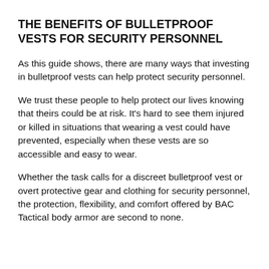THE BENEFITS OF BULLETPROOF VESTS FOR SECURITY PERSONNEL
As this guide shows, there are many ways that investing in bulletproof vests can help protect security personnel.
We trust these people to help protect our lives knowing that theirs could be at risk. It's hard to see them injured or killed in situations that wearing a vest could have prevented, especially when these vests are so accessible and easy to wear.
Whether the task calls for a discreet bulletproof vest or overt protective gear and clothing for security personnel, the protection, flexibility, and comfort offered by BAC Tactical body armor are second to none.